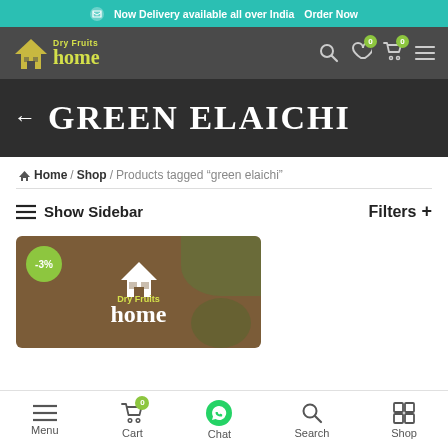Now Delivery available all over India  Order Now
[Figure (logo): Dry Fruits Home logo - house icon with yellow/green text on dark grey navigation bar]
GREEN ELAICHI
Home / Shop / Products tagged "green elaichi"
Show Sidebar  Filters +
[Figure (photo): Dry Fruits Home product card with brown background, -3% discount badge, house logo with Dry Fruits Home text and green cardamom decorations]
Menu  Cart 0  Chat  Search  Shop